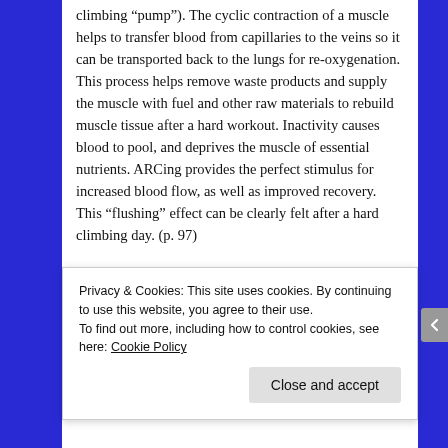climbing “pump”). The cyclic contraction of a muscle helps to transfer blood from capillaries to the veins so it can be transported back to the lungs for re-oxygenation. This process helps remove waste products and supply the muscle with fuel and other raw materials to rebuild muscle tissue after a hard workout. Inactivity causes blood to pool, and deprives the muscle of essential nutrients. ARCing provides the perfect stimulus for increased blood flow, as well as improved recovery. This “flushing” effect can be clearly felt after a hard climbing day. (p. 97)
I understand that, physiologically, these two ideas are not mutually exclusive. In practical application, though, wouldn’t you be digging yourself into a
Privacy & Cookies: This site uses cookies. By continuing to use this website, you agree to their use.
To find out more, including how to control cookies, see here: Cookie Policy
Close and accept